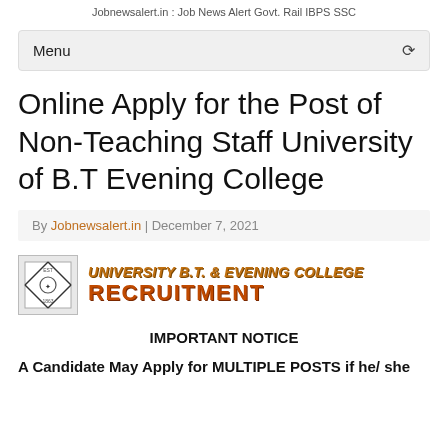Jobnewsalert.in : Job News Alert Govt. Rail IBPS SSC
Menu
Online Apply for the Post of Non-Teaching Staff University of B.T Evening College
By Jobnewsalert.in | December 7, 2021
[Figure (logo): University B.T. & Evening College logo with recruitment banner text in orange]
IMPORTANT NOTICE
A Candidate May Apply for MULTIPLE POSTS if he/ she